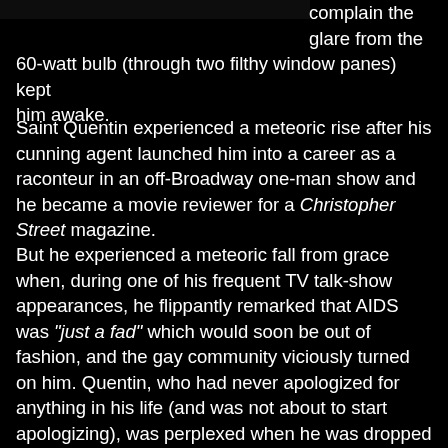[Figure (photo): Dark/black photograph strip at top left of page]
complain the glare from the 60-watt bulb (through two filthy window panes) kept him awake.
Saint Quentin experienced a meteoric rise after his cunning agent launched him into a career as a raconteur in an off-Broadway one-man show and he became a movie reviewer for a Christopher Street magazine.
But he experienced a meteoric fall from grace when, during one of his frequent TV talk-show appearances, he flippantly remarked that AIDS was "just a fad" which would soon be out of fashion, and the gay community viciously turned on him. Quentin, who had never apologized for anything in his life (and was not about to start apologizing), was perplexed when he was dropped by his agent and editor until his eyes were opened when he got to know young artist